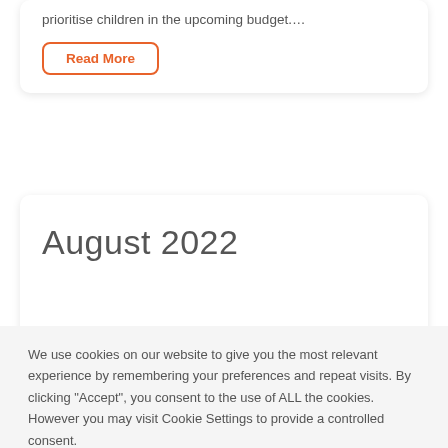prioritise children in the upcoming budget.…
Read More
August 2022
We use cookies on our website to give you the most relevant experience by remembering your preferences and repeat visits. By clicking "Accept", you consent to the use of ALL the cookies. However you may visit Cookie Settings to provide a controlled consent.
Cookie settings
ACCEPT